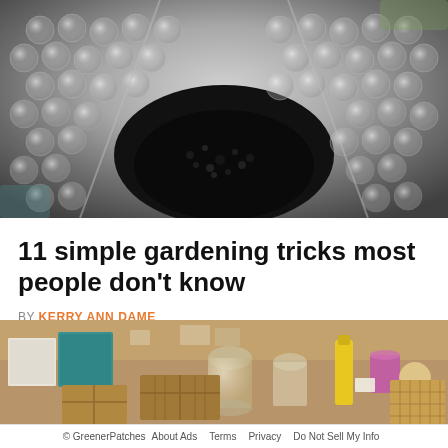[Figure (photo): Close-up photo of bubble wrap being used as insulation lining inside a plant pot with dark soil/seeds visible in the center]
11 simple gardening tricks most people don't know
BY KERRY ANN DAME
[Figure (photo): Photo of a cluttered flea market or thrift store table with glass jars, containers, wooden crates, teal/turquoise box, and various household items]
© GreenerPatches   About Ads   Terms   Privacy   Do Not Sell My Info